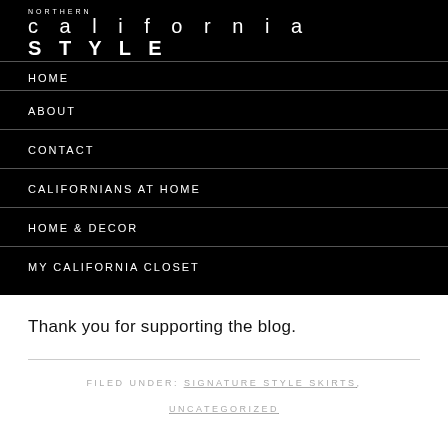NORTHERN california STYLE
HOME
ABOUT
CONTACT
CALIFORNIANS AT HOME
HOME & DECOR
MY CALIFORNIA CLOSET
Thank you for supporting the blog.
FILED UNDER: SIGNATURE STYLE SKIRTS, UNCATEGORIZED